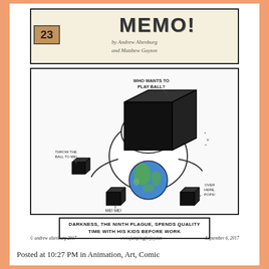[Figure (illustration): Comic strip header panel for 'MEMO!' by Andrew Altenburg and Matthew Gayton, episode 23]
[Figure (illustration): Comic strip panel showing 'Darkness, the Ninth Plague' (a large black cube character) holding planet Earth, surrounded by smaller black cube children. Speech bubbles: 'WHO WANTS TO PLAY BALL?', 'THROW THE BALL TO ME!', 'ME! ME!', 'OVER HERE, POPS!']
DARKNESS, THE NINTH PLAGUE, SPENDS QUALITY TIME WITH HIS KIDS BEFORE WORK
© andrew altenburg 2017    www.jumpingforjoy.net    September 6, 2017
Posted at 10:27 PM in Animation, Art, Comic